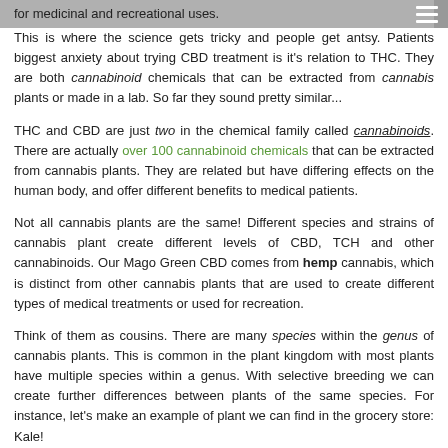for medicinal and recreational uses.
This is where the science gets tricky and people get antsy. Patients biggest anxiety about trying CBD treatment is it's relation to THC. They are both cannabinoid chemicals that can be extracted from cannabis plants or made in a lab. So far they sound pretty similar...
THC and CBD are just two in the chemical family called cannabinoids. There are actually over 100 cannabinoid chemicals that can be extracted from cannabis plants. They are related but have differing effects on the human body, and offer different benefits to medical patients.
Not all cannabis plants are the same! Different species and strains of cannabis plant create different levels of CBD, TCH and other cannabinoids. Our Mago Green CBD comes from hemp cannabis, which is distinct from other cannabis plants that are used to create different types of medical treatments or used for recreation.
Think of them as cousins. There are many species within the genus of cannabis plants. This is common in the plant kingdom with most plants have multiple species within a genus. With selective breeding we can create further differences between plants of the same species. For instance, let's make an example of plant we can find in the grocery store: Kale!